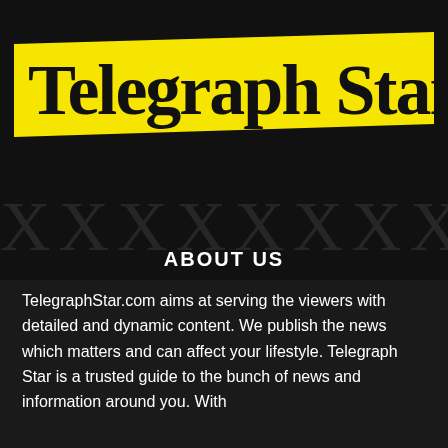[Figure (logo): Telegraph Star newspaper logo: black gothic/blackletter text on a yellow angled banner background]
ABOUT US
TelegraphStar.com aims at serving the viewers with detailed and dynamic content. We publish the news which matters and can affect your lifestyle. Telegraph Star is a trusted guide to the bunch of news and information around you. With